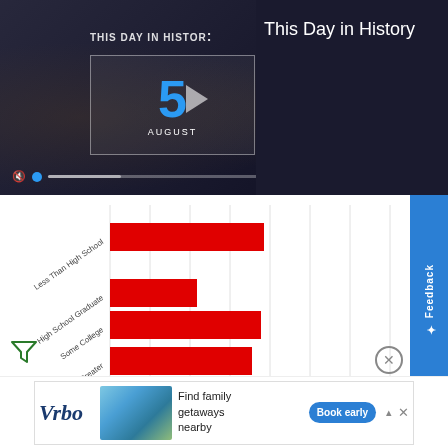[Figure (screenshot): Video player showing 'This Day in History' with a large number 5 and AUGUST label, muted with progress bar]
This Day in History
[Figure (bar-chart): Education Level Bar Chart]
[Figure (screenshot): Vrbo advertisement - Find family getaways nearby with Book early button]